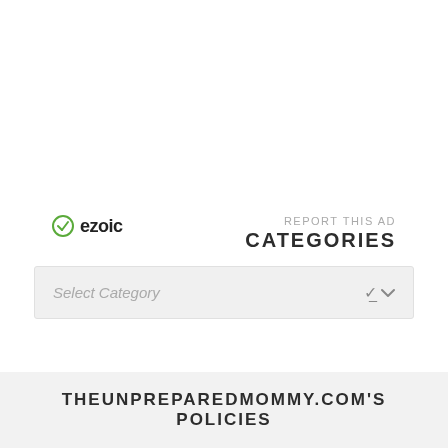[Figure (logo): Ezoic logo with green circle/check icon and bold 'ezoic' text]
REPORT THIS AD
CATEGORIES
Select Category
THEUNPREPAREDMOMMY.COM'S POLICIES